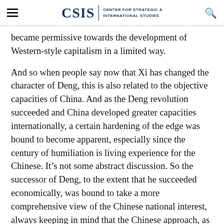CSIS | CENTER FOR STRATEGIC & INTERNATIONAL STUDIES
became permissive towards the development of Western-style capitalism in a limited way.
And so when people say now that Xi has changed the character of Deng, this is also related to the objective capacities of China. And as the Deng revolution succeeded and China developed greater capacities internationally, a certain hardening of the edge was bound to become apparent, especially since the century of humiliation is living experience for the Chinese. It’s not some abstract discussion. So the successor of Deng, to the extent that he succeeded economically, was bound to take a more comprehensive view of the Chinese national interest, always keeping in mind that the Chinese approach, as Ray mentioned.